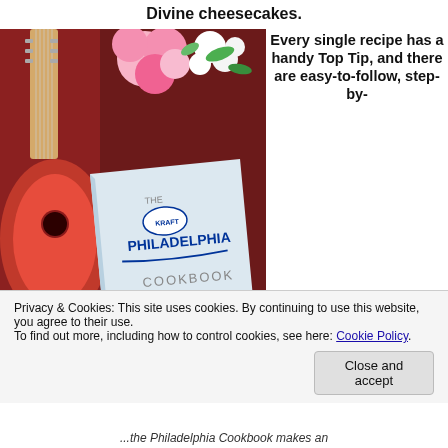Divine cheesecakes.
[Figure (photo): A Philadelphia Cookbook resting on a dark red velvet surface next to an acoustic guitar, with pink and white flowers above it. The book cover reads 'THE PHILADELPHIA COOKBOOK — HEAVENLY RECIPES USING PHILADELPHIA'.]
Every single recipe has a handy Top Tip, and there are easy-to-follow, step-by-
Privacy & Cookies:  This site uses cookies.  By continuing to use this website, you agree to their use.
To find out more, including how to control cookies, see here: Cookie Policy
...the Philadelphia Cookbook makes an